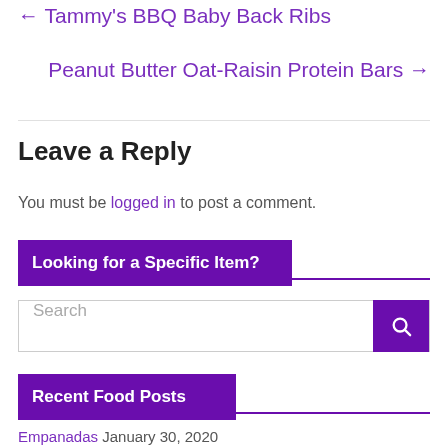← Tammy's BBQ Baby Back Ribs
Peanut Butter Oat-Raisin Protein Bars →
Leave a Reply
You must be logged in to post a comment.
Looking for a Specific Item?
Search
Recent Food Posts
Empanadas January 30, 2020